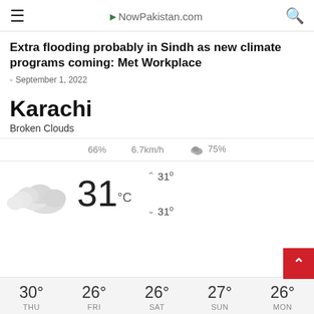NowPakistan.com
Extra flooding probably in Sindh as new climate programs coming: Met Workplace
September 1, 2022
Karachi
Broken Clouds
66%  6.7km/h  75%
[Figure (infographic): Weather widget showing 31°C with broken clouds icon, high 31°, low 31°]
[Figure (infographic): 5-day forecast bar: THU 30°, FRI 26°, SAT 26°, SUN 27°, MON 26°]